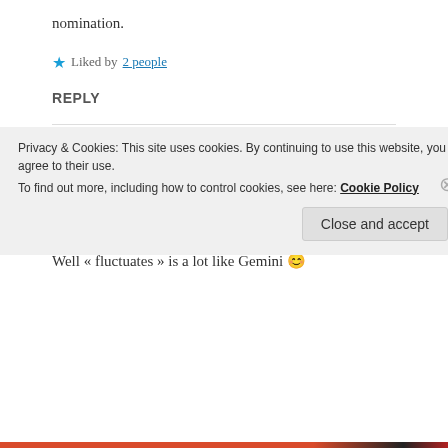nomination.
★ Liked by 2 people
REPLY
HUGUETTA
19 Mar 2019 at 7:06 pm
The club is international now 😂
Well « fluctuates » is a lot like Gemini 😌
Privacy & Cookies: This site uses cookies. By continuing to use this website, you agree to their use.
To find out more, including how to control cookies, see here: Cookie Policy
Close and accept